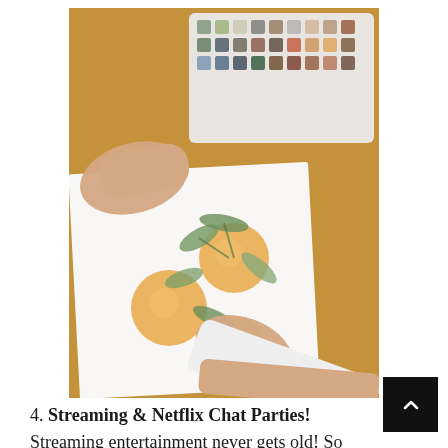[Figure (photo): Person's hands painting watercolor oranges/citrus fruit with green leaves on white paper, with a watercolor palette tray in the upper portion of the image, on a wooden table surface.]
4. Streaming & Netflix Chat Parties! Streaming entertainment never gets old! So why not take this time to tune into your preferred